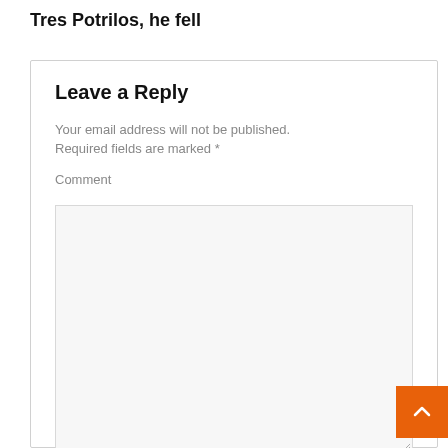Tres Potrilos, he fell
Leave a Reply
Your email address will not be published.
Required fields are marked *
Comment